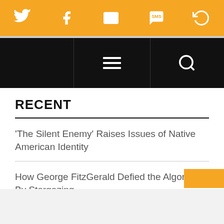Social sharing bar with Twitter, Facebook, Email, SMS, and RSS icons
Navigation bar with hamburger menu and search icon
RECENT
'The Silent Enemy' Raises Issues of Native American Identity
How George FitzGerald Defied the Algorithm By Stargazing
Mr. Bad Example: 10 Underappreciated Warren Zevon Songs